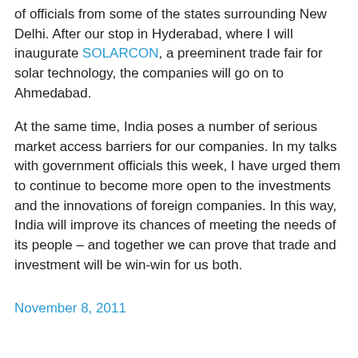of officials from some of the states surrounding New Delhi. After our stop in Hyderabad, where I will inaugurate SOLARCON, a preeminent trade fair for solar technology, the companies will go on to Ahmedabad.
At the same time, India poses a number of serious market access barriers for our companies. In my talks with government officials this week, I have urged them to continue to become more open to the investments and the innovations of foreign companies. In this way, India will improve its chances of meeting the needs of its people – and together we can prove that trade and investment will be win-win for us both.
November 8, 2011